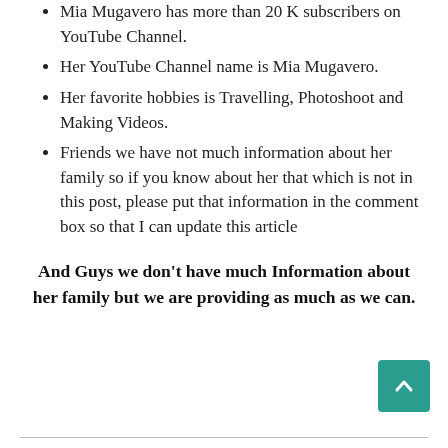Mia Mugavero has more than 20 K subscribers on YouTube Channel.
Her YouTube Channel name is Mia Mugavero.
Her favorite hobbies is Travelling, Photoshoot and Making Videos.
Friends we have not much information about her family so if you know about her that which is not in this post, please put that information in the comment box so that I can update this article
And Guys we don’t have much Information about her family but we are providing as much as we can.